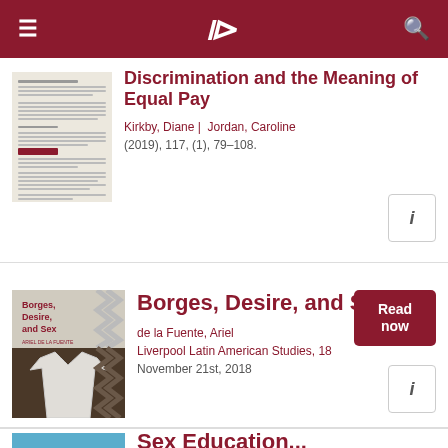≡  )  🔍
Discrimination and the Meaning of Equal Pay
Kirkby, Diane |  Jordan, Caroline
(2019), 117, (1), 79–108.
[Figure (screenshot): Thumbnail of a document page]
Borges, Desire, and Sex
de la Fuente, Ariel
Liverpool Latin American Studies, 18
November 21st, 2018
[Figure (photo): Book cover of Borges, Desire, and Sex with a folded white shirt on dark background]
Sex Education...